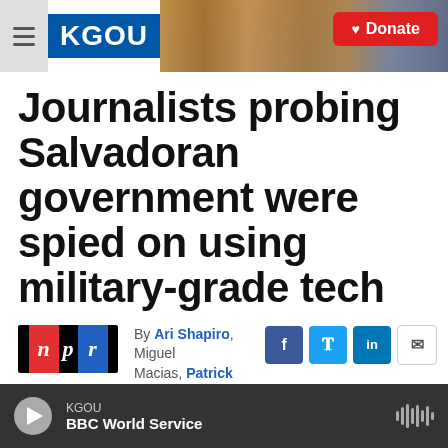[Figure (screenshot): KGOU radio station website header with logo, city photo background, and red Donate button]
Journalists probing Salvadoran government were spied on using military-grade tech
By Ari Shapiro, Miguel Macias, Patrick Jarenwattananon
Published January 13
KGOU BBC World Service